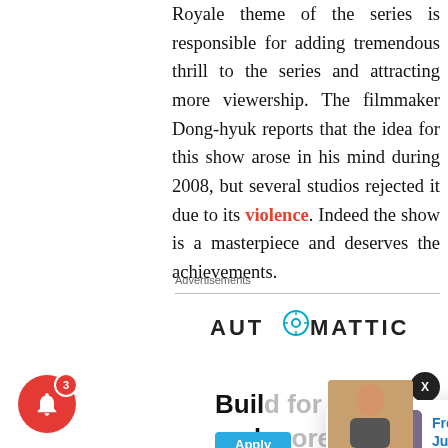Royale theme of the series is responsible for adding tremendous thrill to the series and attracting more viewership. The filmmaker Dong-hyuk reports that the idea for this show arose in his mind during 2008, but several studios rejected it due to its violence. Indeed the show is a masterpiece and deserves the achievements.
Advertisements
[Figure (logo): AUTOMATTIC logo with compass/target icon replacing the 'O']
Built for the bold and
[Figure (infographic): Notification popup card: From Maharani 2 To Criminal Justice S3, It's — 4 hours ago, with thumbnail image of two people]